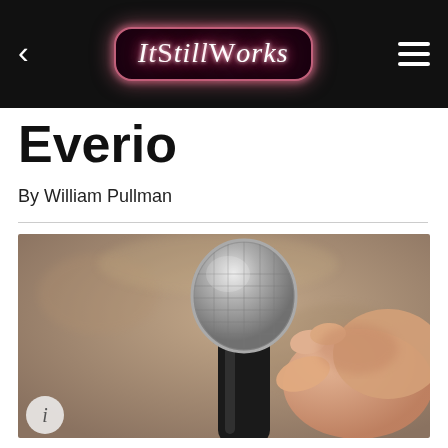ItStillWorks
Everio
By William Pullman
[Figure (photo): A hand holding a silver and black dynamic microphone against a blurred brown/grey background.]